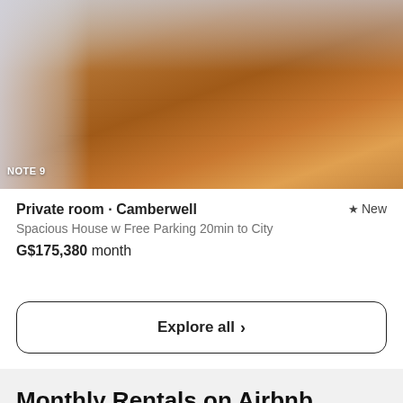[Figure (photo): Interior photo of a room with wooden/hardwood flooring, showing a hallway or room with warm brown tones. Text overlay 'NOTE 9' visible at bottom left of photo.]
Private room · Camberwell ★ New
Spacious House w Free Parking 20min to City
G$175,380 month
Explore all >
Monthly Rentals on Airbnb